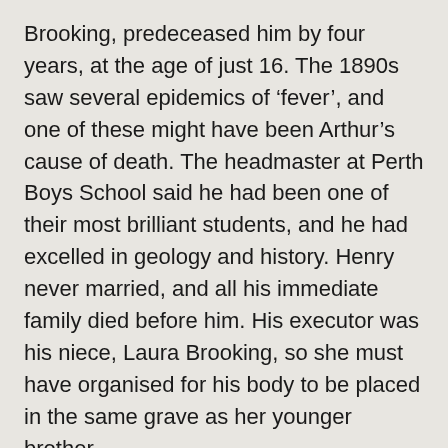Brooking, predeceased him by four years, at the age of just 16. The 1890s saw several epidemics of ‘fever’, and one of these might have been Arthur’s cause of death. The headmaster at Perth Boys School said he had been one of their most brilliant students, and he had excelled in geology and history. Henry never married, and all his immediate family died before him. His executor was his niece, Laura Brooking, so she must have organised for his body to be placed in the same grave as her younger brother.
Yet the headstone itself reveals nothing poignant. Did Laura grieve for her uncle? Did the service remind her of the death of her brother and open old wounds? Or, like the unpoetic two lines of ‘verse’ on the stone, was the whole affair ordered and dignified without ever reaching the level of emotions? As these